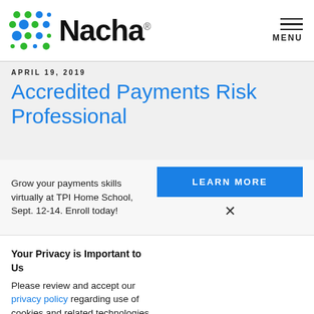[Figure (logo): Nacha logo with colorful dot grid icon and bold Nacha text]
MENU
APRIL 19, 2019
Accredited Payments Risk Professional
Grow your payments skills virtually at TPI Home School, Sept. 12-14. Enroll today!
LEARN MORE
×
Your Privacy is Important to Us
Please review and accept our privacy policy regarding use of cookies and related technologies.
ACCEPT
×